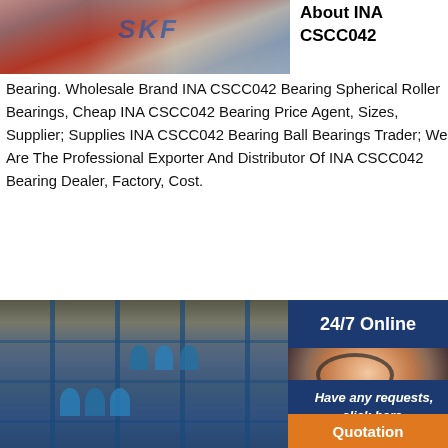[Figure (photo): SKF branded bearing boxes, red and blue packaging stacked]
About INA CSCC042
Bearing. Wholesale Brand INA CSCC042 Bearing Spherical Roller Bearings, Cheap INA CSCC042 Bearing Price Agent, Sizes, Supplier; Supplies INA CSCC042 Bearing Ball Bearings Trader; We Are The Professional Exporter And Distributor Of INA CSCC042 Bearing Dealer, Factory, Cost.
[Figure (photo): Large warehouse interior with blue metal shelving racks stocked with industrial bearings and cylindrical products]
[Figure (photo): Customer service agent woman with headset smiling, 24/7 Online panel overlay]
24/7 Online
Have any requests, click here.
Quotation
22352 CCK/W33 + OH 2352 H. Wholesale Brand SKF 22352 CCK/W33 + OH 2352 H Spherical Roller Bearings, Cheap SKF 22352 CCK/W33 + OH 2352 H Price Agent, Sizes, Supplier; Supplies SKF 22352 CCK/W33 + OH 2352 H Ball Bearings Trader; We Are The